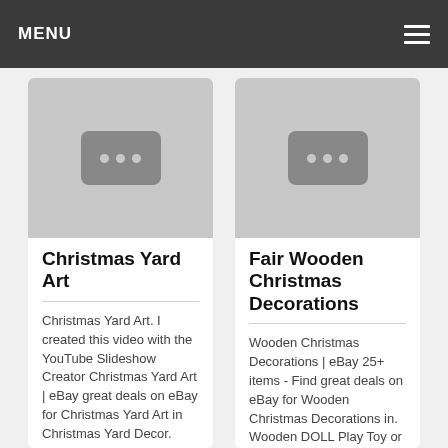MENU
[Figure (screenshot): YouTube video placeholder thumbnail for Christmas Yard Art]
Christmas Yard Art
Christmas Yard Art. I created this video with the YouTube Slideshow Creator Christmas Yard Art | eBay great deals on eBay for Christmas Yard Art in Christmas Yard Decor. Shop with confidence. Christ...
[Figure (screenshot): YouTube video placeholder thumbnail for Fair Wooden Christmas Decorations]
Fair Wooden Christmas Decorations
Wooden Christmas Decorations | eBay 25+ items - Find great deals on eBay for Wooden Christmas Decorations in. Wooden DOLL Play Toy or CHRISTMAS